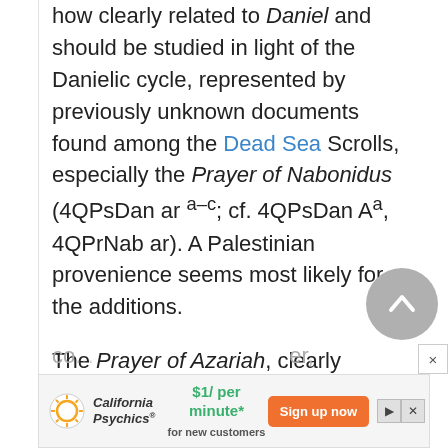how clearly related to Daniel and should be studied in light of the Danielic cycle, represented by previously unknown documents found among the Dead Sea Scrolls, especially the Prayer of Nabonidus (4QPsDan ar a–c; cf. 4QPsDan Aa, 4QPrNab ar). A Palestinian provenience seems most likely for the additions.
The Prayer of Azariah, clearly co... er, Zü...
[Figure (other): Scroll-to-top circular button (gray) with upward chevron icon]
[Figure (other): Close (X) button overlay]
[Figure (other): Advertisement banner: California Psychics – $1/per minute* for new customers – Sign up now button]